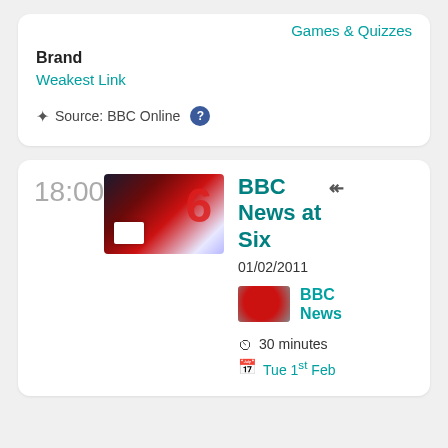Games & Quizzes
Brand
Weakest Link
Source: BBC Online ?
18:00
[Figure (photo): BBC News at Six thumbnail showing a red '6' logo with studio in background]
BBC News at Six
01/02/2011
[Figure (logo): BBC News logo thumbnail]
BBC News
30 minutes
Tue 1st Feb